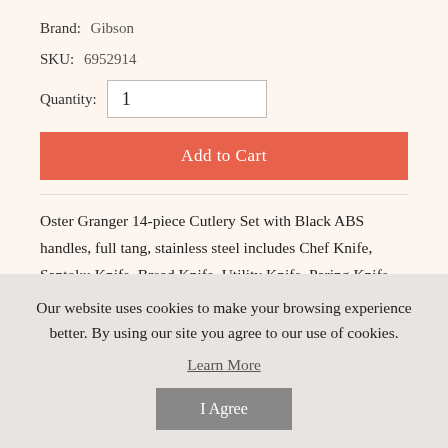Brand:  Gibson
SKU:  6952914
Quantity:  1
Add to Cart
Oster Granger 14-piece Cutlery Set with Black ABS handles, full tang, stainless steel includes Chef Knife, Santoku Knife, Bread Knife, Utility Knife, Paring Knife, Sharpener, Scissor, 6 Steak Knives, Wood Block.
Our website uses cookies to make your browsing experience better. By using our site you agree to our use of cookies.
Learn More
I Agree